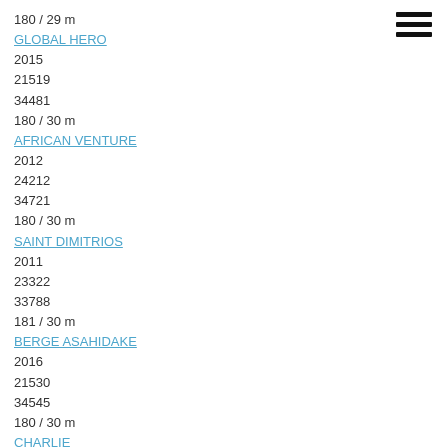180 / 29 m
GLOBAL HERO
2015
21519
34481
180 / 30 m
AFRICAN VENTURE
2012
24212
34721
180 / 30 m
SAINT DIMITRIOS
2011
23322
33788
181 / 30 m
BERGE ASAHIDAKE
2016
21530
34545
180 / 30 m
CHARLIE
2011
22429
34168
180 / 30 m
ELPIS
2010